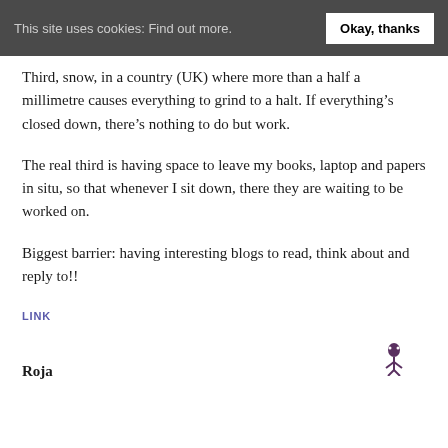This site uses cookies: Find out more.  Okay, thanks
Third, snow, in a country (UK) where more than a half a millimetre causes everything to grind to a halt. If everything’s closed down, there’s nothing to do but work.
The real third is having space to leave my books, laptop and papers in situ, so that whenever I sit down, there they are waiting to be worked on.
Biggest barrier: having interesting blogs to read, think about and reply to!!
LINK
Roja